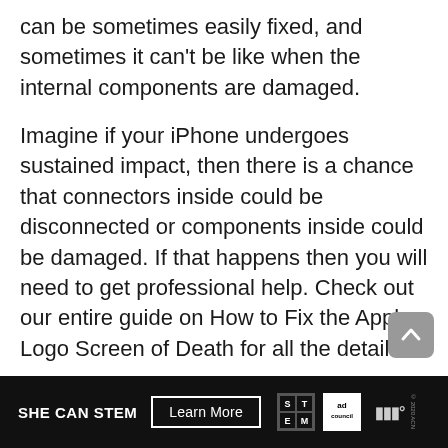can be sometimes easily fixed, and sometimes it can't be like when the internal components are damaged.
Imagine if your iPhone undergoes sustained impact, then there is a chance that connectors inside could be disconnected or components inside could be damaged. If that happens then you will need to get professional help. Check out our entire guide on How to Fix the Apple Logo Screen of Death for all the details.
[Figure (other): Gray rounded scroll-to-top button with upward arrow icon]
[Figure (infographic): Advertisement banner with dark background. Text: SHE CAN STEM with a Learn More button, STEM grid logo, Ad Council logo, and MRC logo marks.]